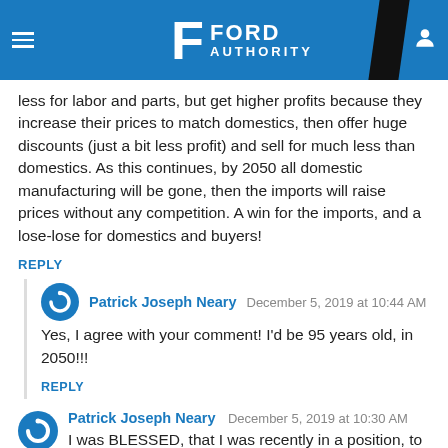Ford Authority
less for labor and parts, but get higher profits because they increase their prices to match domestics, then offer huge discounts (just a bit less profit) and sell for much less than domestics. As this continues, by 2050 all domestic manufacturing will be gone, then the imports will raise prices without any competition. A win for the imports, and a lose-lose for domestics and buyers!
REPLY
Patrick Joseph Neary  December 5, 2019 at 10:44 AM
Yes, I agree with your comment! I'd be 95 years old, in 2050!!!
REPLY
Patrick Joseph Neary  December 5, 2019 at 10:30 AM
I was BLESSED, that I was recently in a position, to purchase two new Ford vehicles! One, inexpensive one, for